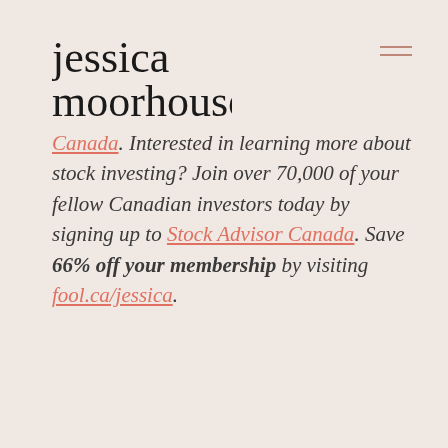[Figure (logo): Jessica Moorhouse script logo in black cursive handwriting]
Canada. Interested in learning more about stock investing? Join over 70,000 of your fellow Canadian investors today by signing up to Stock Advisor Canada. Save 66% off your membership by visiting fool.ca/jessica.